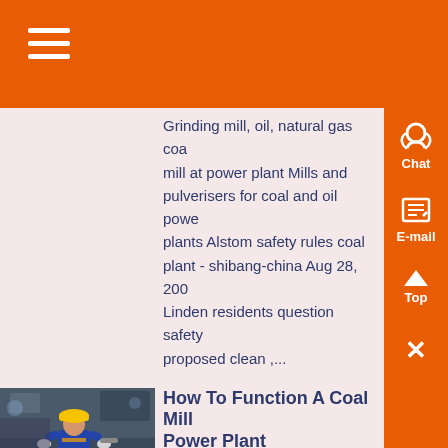Grinding mill, oil, natural gas coal mill at power plant Mills and pulverisers for coal and oil power plants Alstom safety rules coal plant - shibang-china Aug 28, 200 Linden residents question safety proposed clean ,...
[Figure (photo): Worker in yellow hard hat and blue coveralls working with industrial equipment in a factory setting]
How To Function A Coal Mill Power Plant
Know More
31-08-2019 0183 32 Function coal mill power plant - baoli-forkliftsCoMeasuring coal particle in the pipe - power engineeringT